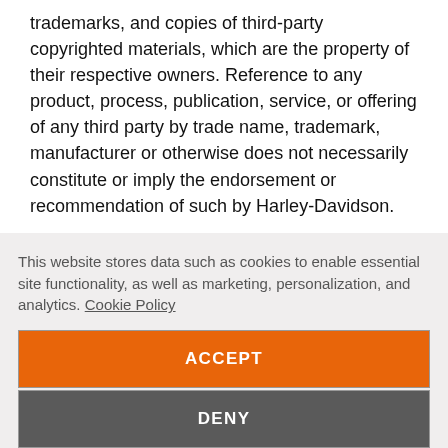trademarks, and copies of third-party copyrighted materials, which are the property of their respective owners. Reference to any product, process, publication, service, or offering of any third party by trade name, trademark, manufacturer or otherwise does not necessarily constitute or imply the endorsement or recommendation of such by Harley-Davidson.
SUBMISSIONS, REVIEWS, FEEDBACK AND OTHER POSTINGS TO THE SITE
This website stores data such as cookies to enable essential site functionality, as well as marketing, personalization, and analytics. Cookie Policy
ACCEPT
DENY